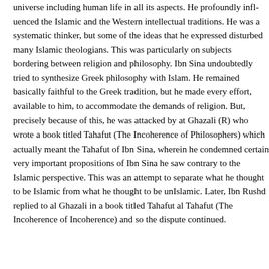universe including human life in all its aspects. He profoundly influenced the Islamic and the Western intellectual traditions. He was a systematic thinker, but some of the ideas that he expressed disturbed many Islamic theologians. This was particularly on subjects bordering between religion and philosophy. Ibn Sina undoubtedly tried to synthesize Greek philosophy with Islam. He remained basically faithful to the Greek tradition, but he made every effort, available to him, to accommodate the demands of religion. But, precisely because of this, he was attacked by at Ghazali (R) who wrote a book titled Tahafut (The Incoherence of Philosophers) which actually meant the Tahafut of Ibn Sina, wherein he condemned certain very important propositions of Ibn Sina he saw contrary to the Islamic perspective. This was an attempt to separate what he thought to be Islamic from what he thought to be unIslamic. Later, Ibn Rushd replied to al Ghazali in a book titled Tahafut al Tahafut (The Incoherence of Incoherence) and so the dispute continued.